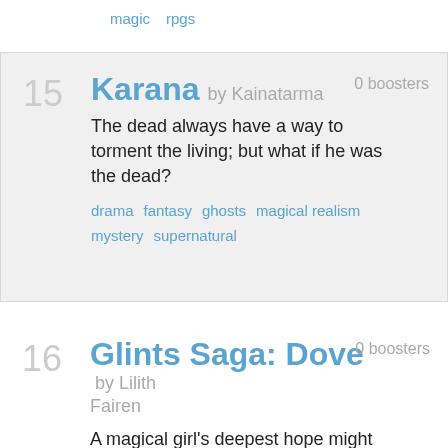magic   rpgs
15  Karana by Kainatarma  0 boosters
The dead always have a way to torment the living; but what if he was the dead?
drama   fantasy   ghosts   magical realism
mystery   supernatural
16  Glints Saga: Dove by Lilith Fairen  0 boosters
A magical girl's deepest hope might draw a line between her and her fellow